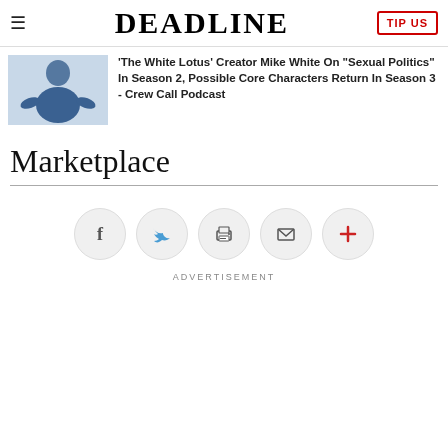DEADLINE | TIP US
'The White Lotus' Creator Mike White On "Sexual Politics" In Season 2, Possible Core Characters Return In Season 3 - Crew Call Podcast
Marketplace
[Figure (infographic): Social sharing icons row: Facebook, Twitter, Print, Email, More (plus sign) — circular grey buttons]
ADVERTISEMENT